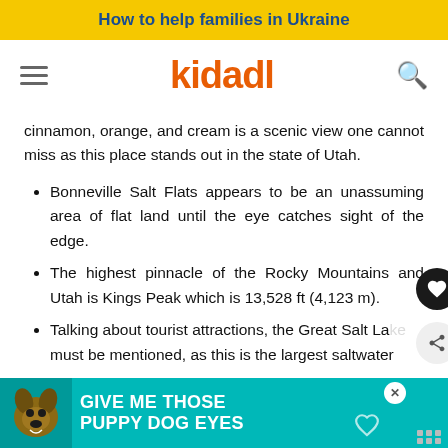How to help families in Ukraine
[Figure (logo): Kidadl website header with hamburger menu, kidadl orange logo, and search icon]
cinnamon, orange, and cream is a scenic view one cannot miss as this place stands out in the state of Utah.
Bonneville Salt Flats appears to be an unassuming area of flat land until the eye catches sight of the edge.
The highest pinnacle of the Rocky Mountains and Utah is Kings Peak which is 13,528 ft (4,123 m).
Talking about tourist attractions, the Great Salt Lake must be mentioned, as this is the largest saltwater
[Figure (infographic): Advertisement banner: Give me those puppy dog eyes, with dog image on teal background]